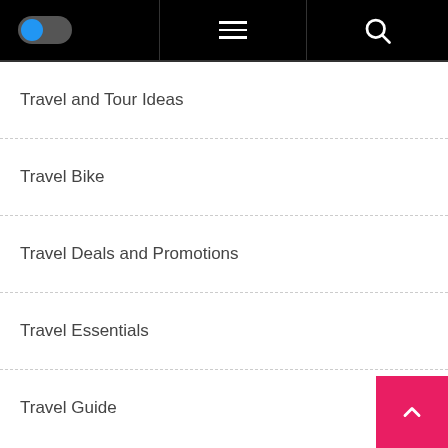[Figure (screenshot): Top navigation bar with toggle switch on left, hamburger menu in center, and search icon on right, all on black background]
Travel and Tour Ideas
Travel Bike
Travel Deals and Promotions
Travel Essentials
Travel Guide